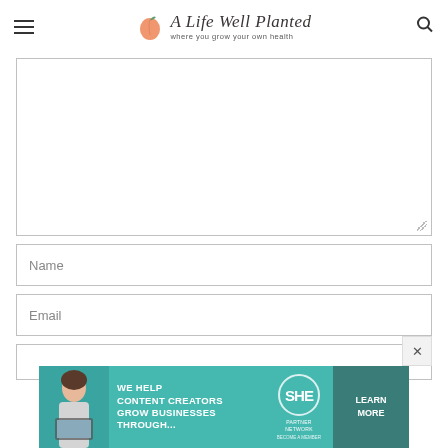A Life Well Planted — where you grow your own health
[Figure (screenshot): Website comment/contact form with a large textarea, Name field, Email field, and a partial third input field. Below is a SHE Partner Network advertisement banner with a woman at laptop, text 'We help content creators grow businesses through...', SHE logo, and 'Learn More' button.]